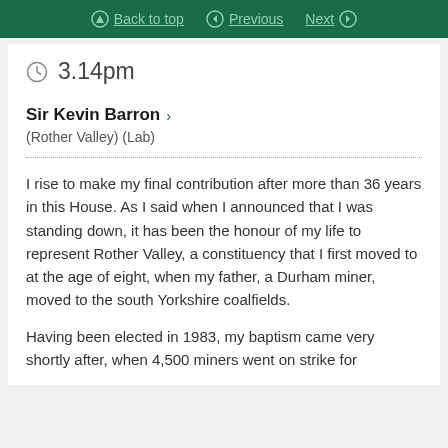Back to top  Previous  Next
3.14pm
Sir Kevin Barron >
(Rother Valley) (Lab)
I rise to make my final contribution after more than 36 years in this House. As I said when I announced that I was standing down, it has been the honour of my life to represent Rother Valley, a constituency that I first moved to at the age of eight, when my father, a Durham miner, moved to the south Yorkshire coalfields.
Having been elected in 1983, my baptism came very shortly after, when 4,500 miners went on strike for